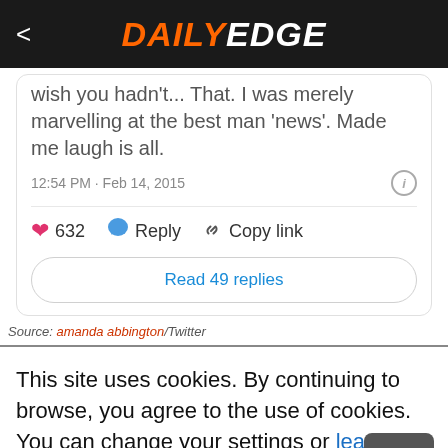DAILY EDGE
wish you hadn't... That. I was merely marvelling at the best man 'news'. Made me laugh is all.
12:54 PM · Feb 14, 2015
632  Reply  Copy link
Read 49 replies
Source: amanda abbington/Twitter
This site uses cookies. By continuing to browse, you agree to the use of cookies. You can change your settings or learn more here.